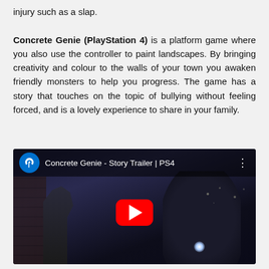injury such as a slap. Concrete Genie (PlayStation 4) is a platform game where you also use the controller to paint landscapes. By bringing creativity and colour to the walls of your town you awaken friendly monsters to help you progress. The game has a story that touches on the topic of bullying without feeling forced, and is a lovely experience to share in your family.
[Figure (screenshot): YouTube video thumbnail/player for 'Concrete Genie - Story Trailer | PS4' showing a dark scene with a character and a monster, PlayStation logo icon, red YouTube play button in the center]